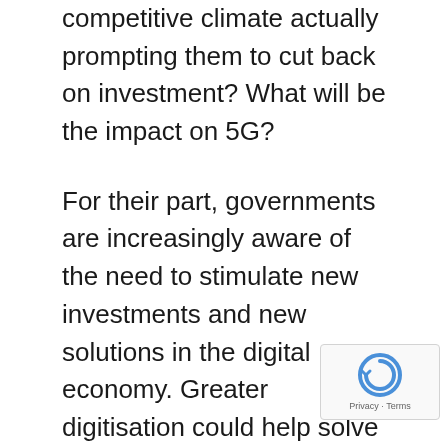competitive climate actually prompting them to cut back on investment? What will be the impact on 5G?
For their part, governments are increasingly aware of the need to stimulate new investments and new solutions in the digital economy. Greater digitisation could help solve important socio-economic problems. For example, most governments believe that digital technologies can improve the business environment, and support lower-cost, but effective, healthcare, education and security services, that will make their economies function and grow. The EU, for example, is trying to build a Digital Single Ma… while the Indian government's Digital India…